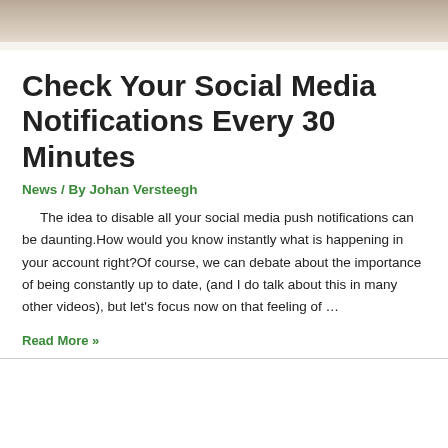[Figure (photo): Cropped photo showing hands, appearing to be a person holding something, with a light gray/beige blurred background]
Check Your Social Media Notifications Every 30 Minutes
News / By Johan Versteegh
The idea to disable all your social media push notifications can be daunting.How would you know instantly what is happening in your account right?Of course, we can debate about the importance of being constantly up to date, (and I do talk about this in many other videos), but let's focus now on that feeling of …
Read More »